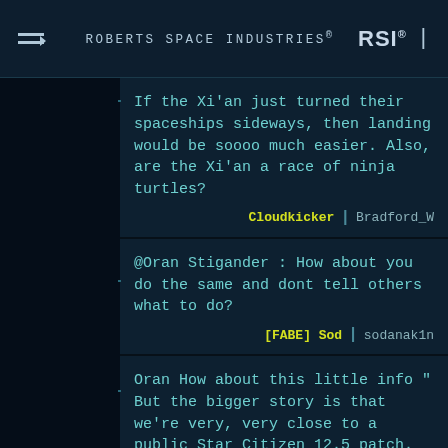ROBERTS SPACE INDUSTRIES® RSI®
If the Xi'an just turned their spaceships sideways, then landing would be soooo much easier. Also, are the Xi'an a race of ninja turtles?
Cloudkicker | Bradford_W
@Oran Stigander : How about you do the same and dont tell others what to do?
[FABE] Sod | sodanak1n
Oran How about this little info " But the bigger story is that we're very, very close to a public Star Citizen 12.5 patch. The last round of fixes to the physics engine introduced an additional bug that we're wrapping up now. But instead of pushing to potentially patch late tonight (assuming the issue is resolved in the next few hours) we are opting to wait until early next week." Early next week, hmm.